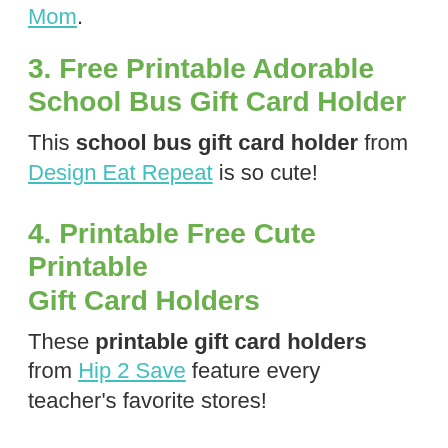Mom.
3. Free Printable Adorable School Bus Gift Card Holder
This school bus gift card holder from Design Eat Repeat is so cute!
4. Printable Free Cute Printable Gift Card Holders
These printable gift card holders from Hip 2 Save feature every teacher's favorite stores!